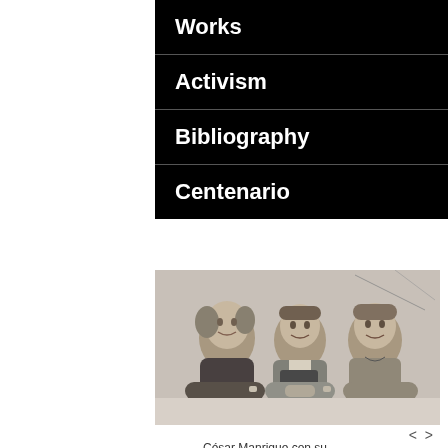Works
Activism
Bibliography
Centenario
[Figure (photo): Black and white photograph of three people (two women and a man) lying down and smiling at the camera, appearing to be from mid-20th century]
César Manrique con su
< >